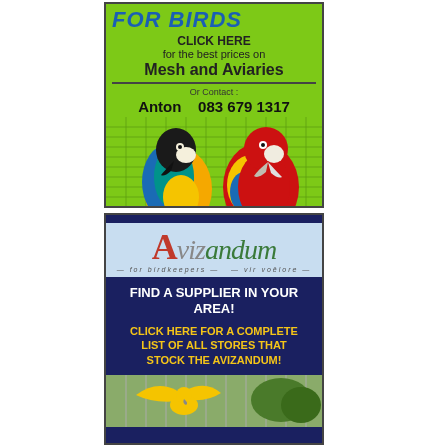[Figure (illustration): Advertisement for bird mesh and aviaries. Green background with two parrots (blue-and-gold macaw and scarlet macaw) in front of wire mesh. Text: FOR BIRDS CLICK HERE for the best prices on Mesh and Aviaries Or Contact: Anton 083 679 1317]
[Figure (illustration): Avizandum advertisement. Dark blue banner top, light blue logo area with Avizandum logo text, dark blue body text: FIND A SUPPLIER IN YOUR AREA! CLICK HERE FOR A COMPLETE LIST OF ALL STORES THAT STOCK THE AVIZANDUM! Bottom shows partial photo of bird in aviary.]